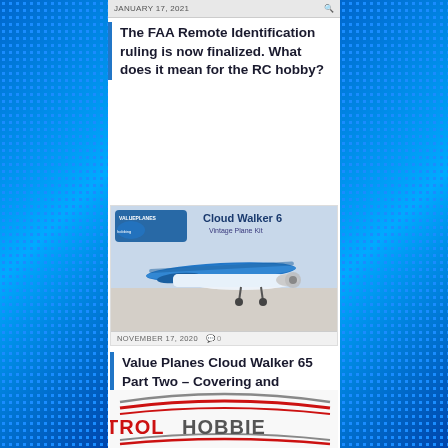JANUARY 17, 2021
The FAA Remote Identification ruling is now finalized. What does it mean for the RC hobby?
[Figure (photo): Photo of a blue and white RC airplane (Cloud Walker 65 Vintage Plane Kit) on a table, with the Value Planes logo and product name visible in the upper portion of the image.]
NOVEMBER 17, 2020   0
Value Planes Cloud Walker 65 Part Two – Covering and Assembly
[Figure (logo): Partial logo showing curved red and gray lines with partial text 'TROL HOBBIE' in dark letters, resembling a hobby or RC brand logo.]